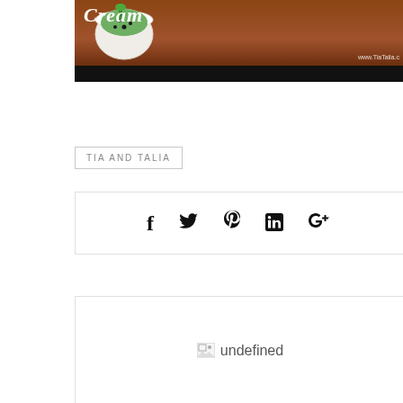[Figure (photo): Top portion of a food blog image showing a bowl with green ice cream or dessert with chocolate chips on a wooden surface background, with partial text 'Cream' visible and website watermark 'www.TiaTalia.c..', with a black bar at the bottom]
TIA AND TALIA
[Figure (other): Social sharing icons bar with Facebook (f), Twitter (bird), Pinterest (p), LinkedIn (in), and Google+ (G+) icons]
[Figure (other): Broken image placeholder showing small broken image icon and the text 'undefined']